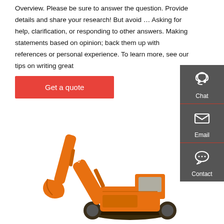Overview. Please be sure to answer the question. Provide details and share your research! But avoid … Asking for help, clarification, or responding to other answers. Making statements based on opinion; back them up with references or personal experience. To learn more, see our tips on writing great
Get a quote
[Figure (infographic): A dark grey sidebar panel on the right with three items: Chat (headset icon), Email (envelope icon), Contact (speech bubble with dots icon), each separated by a red dividing line.]
[Figure (photo): An orange excavator/crawler excavator facing left, shown on a white background. The machine has a prominent boom arm, dipper, and bucket assembly.]